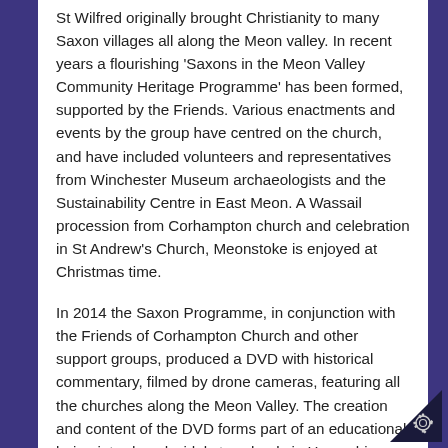St Wilfred originally brought Christianity to many Saxon villages all along the Meon valley. In recent years a flourishing 'Saxons in the Meon Valley Community Heritage Programme' has been formed, supported by the Friends. Various enactments and events by the group have centred on the church, and have included volunteers and representatives from Winchester Museum archaeologists and the Sustainability Centre in East Meon. A Wassail procession from Corhampton church and celebration in St Andrew's Church, Meonstoke is enjoyed at Christmas time.
In 2014 the Saxon Programme, in conjunction with the Friends of Corhampton Church and other support groups, produced a DVD with historical commentary, filmed by drone cameras, featuring all the churches along the Meon Valley. The creation and content of the DVD forms part of an educational being introduced widely to schools in Hampshire. Profits from the local sales of the DVD have been donated to our Churches.